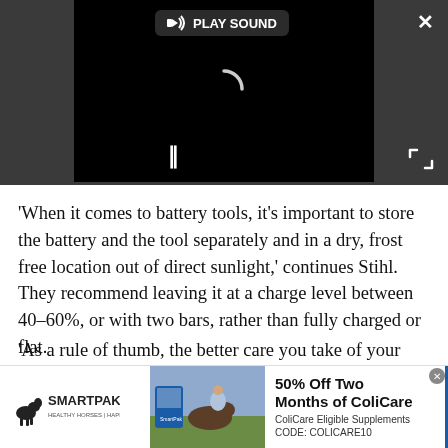[Figure (screenshot): Video player with black screen showing a loading spinner, play sound button, pause button, close and expand controls, on dark grey background]
'When it comes to battery tools, it's important to store the battery and the tool separately and in a dry, frost free location out of direct sunlight,' continues Stihl. They recommend leaving it at a charge level between 40–60%, or with two bars, rather than fully charged or flat.
'As a rule of thumb, the better care you take of your tools, the longer they'll be with you,' they say, which is why it's good practice to put your tools away clean and dry,
[Figure (infographic): SmartPak advertisement banner: logo on left, photo of horse and rider in middle, text '50% Off Two Months of ColiCare, ColiCare Eligible Supplements, CODE: COLICARE10', blue 'Shop Now' button on right]